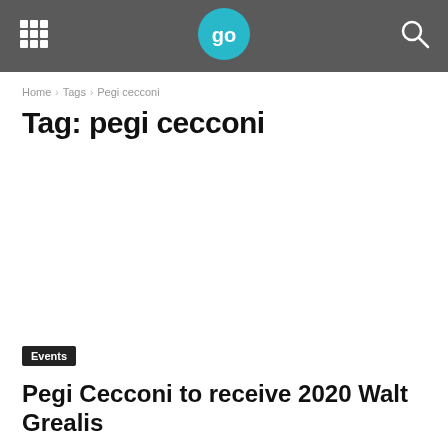go
Home › Tags › Pegi cecconi
Tag: pegi cecconi
Events
Pegi Cecconi to receive 2020 Walt Grealis